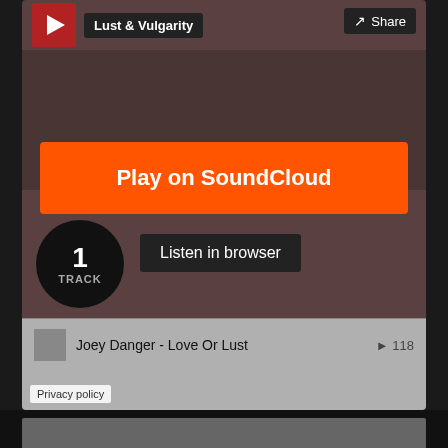Lust & Vulgarity
Share
Play on SoundCloud
1
TRACK
Listen in browser
Joey Danger - Love Or Lust
▶ 118
[Figure (other): Loading spinner animation indicator]
Privacy policy